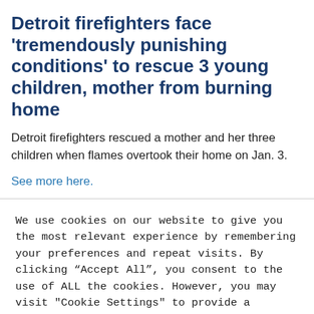Detroit firefighters face 'tremendously punishing conditions' to rescue 3 young children, mother from burning home
Detroit firefighters rescued a mother and her three children when flames overtook their home on Jan. 3.
See more here.
We use cookies on our website to give you the most relevant experience by remembering your preferences and repeat visits. By clicking “Accept All”, you consent to the use of ALL the cookies. However, you may visit "Cookie Settings" to provide a controlled consent.